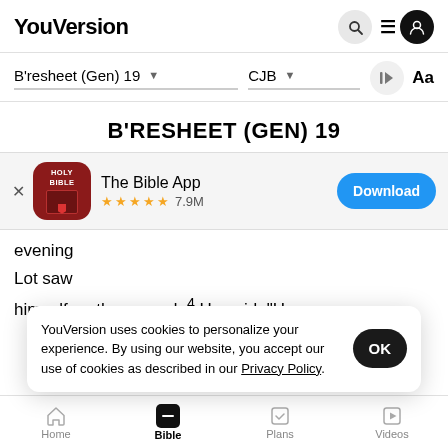YouVersion
B'resheet (Gen) 19  CJB
B'RESHEET (GEN) 19
[Figure (screenshot): The Bible App install banner with Holy Bible icon, 5 stars, 7.9M ratings, and Download button]
evening
Lot saw
himself on the ground. 4 He said, "Here now, my
YouVersion uses cookies to personalize your experience. By using our website, you accept our use of cookies as described in our Privacy Policy.
Home  Bible  Plans  Videos